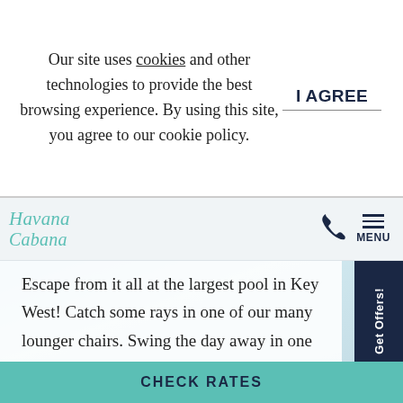Our site uses cookies and other technologies to provide the best browsing experience. By using this site, you agree to our cookie policy.
I AGREE
[Figure (logo): Havana Cabana cursive teal logo]
[Figure (other): Phone icon and hamburger menu with MENU label]
Escape from it all at the largest pool in Key West! Catch some rays in one of our many lounger chairs. Swing the day away in one of our hammocks. Or spend the day with family and friends in one of our large private poolside cabanas.
Get Offers!
CHECK RATES